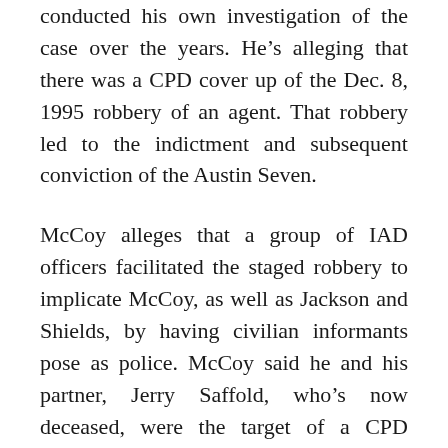conducted his own investigation of the case over the years. He's alleging that there was a CPD cover up of the Dec. 8, 1995 robbery of an agent. That robbery led to the indictment and subsequent conviction of the Austin Seven.
McCoy alleges that a group of IAD officers facilitated the staged robbery to implicate McCoy, as well as Jackson and Shields, by having civilian informants pose as police. McCoy said he and his partner, Jerry Saffold, who's now deceased, were the target of a CPD investigation for allegedly shaking down drug dealers. McCoy alleges that when no wrongdoing was found, a staged robbery was concocted by department officials.
“These people went out and did this crime and after